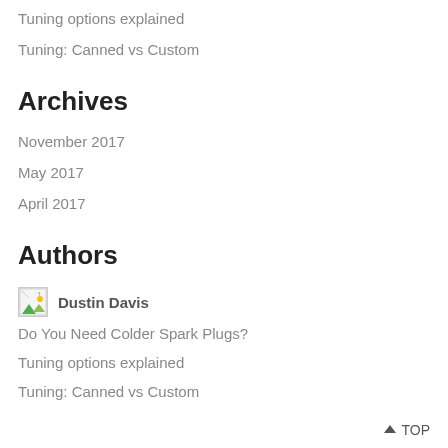Tuning options explained
Tuning: Canned vs Custom
Archives
November 2017
May 2017
April 2017
Authors
[Figure (photo): Small broken image icon placeholder with green triangle, labeled 1]
Dustin Davis
Do You Need Colder Spark Plugs?
Tuning options explained
Tuning: Canned vs Custom
↑ TOP